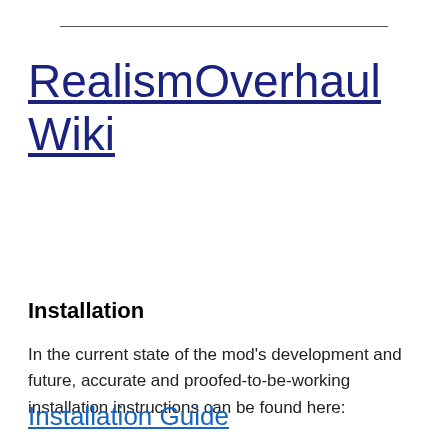RealismOverhaul Wiki
Installation
In the current state of the mod's development and future, accurate and proofed-to-be-working installation instructions can be found here:
Installation Guide